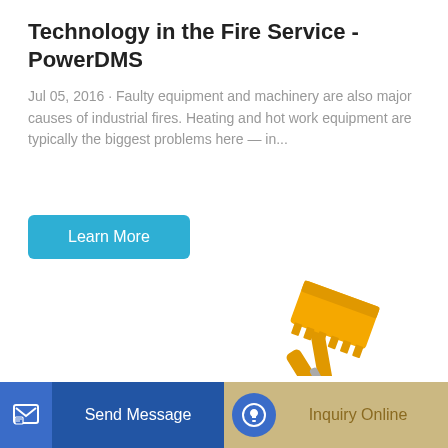Technology in the Fire Service - PowerDMS
Jul 05, 2016 · Faulty equipment and machinery are also major causes of industrial fires. Heating and hot work equipment are typically the biggest problems here — in...
[Figure (illustration): Yellow heavy construction wheel loader with bucket raised, shown on white background]
Send Message | Inquiry Online